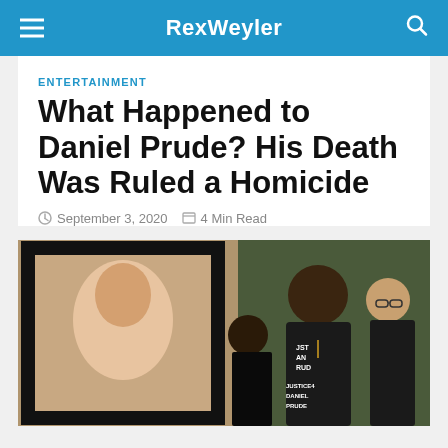RexWeyler
ENTERTAINMENT
What Happened to Daniel Prude? His Death Was Ruled a Homicide
September 3, 2020  4 Min Read
[Figure (photo): People wearing black 'Justice 4 Daniel Prude' t-shirts at a public gathering, holding a framed portrait]